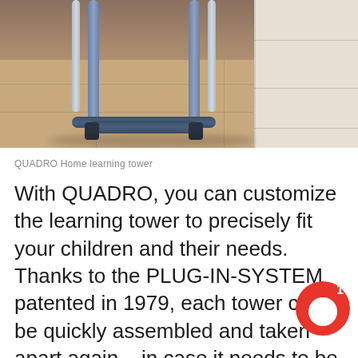[Figure (photo): Close-up photo of the bottom legs of a QUADRO Home learning tower on a wooden floor, with a white cabinet visible on the right side. The tower has blue-grey metal pipes and dark blue/black connector pieces at the base.]
QUADRO Home learning tower
With QUADRO, you can customize the learning tower to precisely fit your children and their needs. Thanks to the PLUG-IN-SYSTEM patented in 1979, each tower can be quickly assembled and taken apart again – in case it needs to be placed somewhere else after all. And you can reassemble it over and over any way you want, without the need for